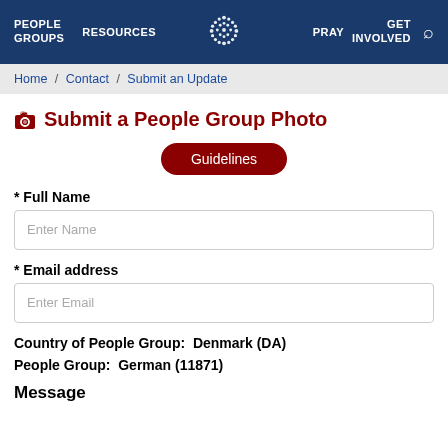PEOPLE GROUPS  RESOURCES  PRAY  GET INVOLVED
Home / Contact / Submit an Update
Submit a People Group Photo
Guidelines
* Full Name
Enter Name
* Email address
Enter Email
Country of People Group:  Denmark (DA)
People Group:  German (11871)
Message